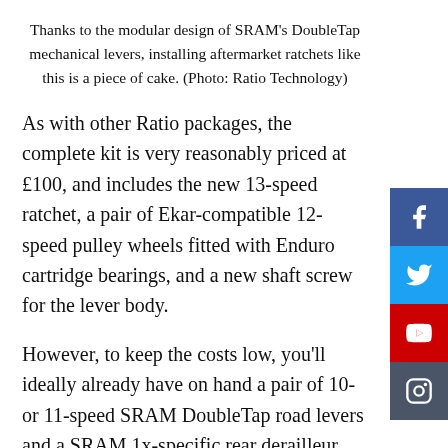Thanks to the modular design of SRAM's DoubleTap mechanical levers, installing aftermarket ratchets like this is a piece of cake. (Photo: Ratio Technology)
As with other Ratio packages, the complete kit is very reasonably priced at £100, and includes the new 13-speed ratchet, a pair of Ekar-compatible 12-speed pulley wheels fitted with Enduro cartridge bearings, and a new shaft screw for the lever body.
However, to keep the costs low, you'll ideally already have on hand a pair of 10- or 11-speed SRAM DoubleTap road levers and a SRAM 1x-specific rear derailleur (either Force 1, Rival 1, Apex 1, or an 11-speed MTB rear derailleur) or, if you're lucky, you'll be able to find some